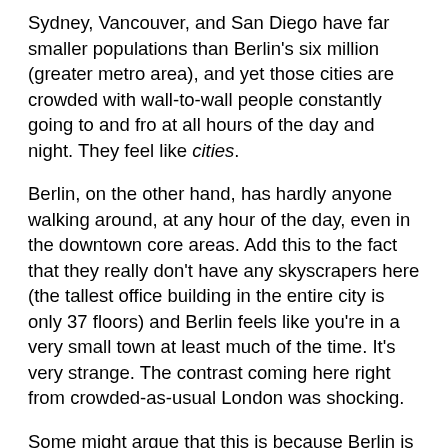Sydney, Vancouver, and San Diego have far smaller populations than Berlin's six million (greater metro area), and yet those cities are crowded with wall-to-wall people constantly going to and fro at all hours of the day and night. They feel like cities.
Berlin, on the other hand, has hardly anyone walking around, at any hour of the day, even in the downtown core areas. Add this to the fact that they really don't have any skyscrapers here (the tallest office building in the entire city is only 37 floors) and Berlin feels like you're in a very small town at least much of the time. It's very strange. The contrast coming here right from crowded-as-usual London was shocking.
Some might argue that this is because Berlin is very spread out, but that makes no sense either, since cities like Los Angeles and Miami are also really spread out, but massive crowds in these cities are still common and normal. It's almost as if Berliners just don't go out very much. I really